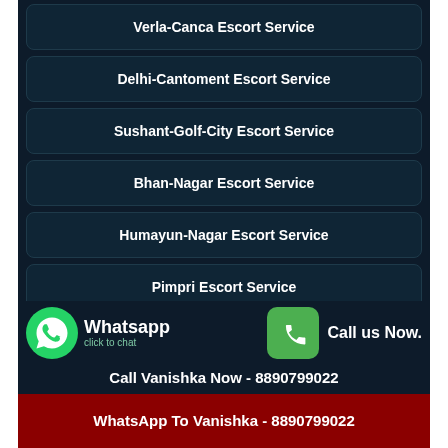Verla-Canca Escort Service
Delhi-Cantoment Escort Service
Sushant-Golf-City Escort Service
Bhan-Nagar Escort Service
Humayun-Nagar Escort Service
Pimpri Escort Service
Thirumazhisai Escort Service
Whatsapp click to chat
Call us Now.
Call Vanishka Now - 8890799022
WhatsApp To Vanishka - 8890799022